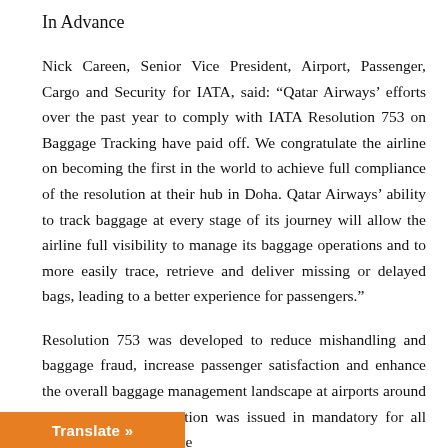In Advance
Nick Careen, Senior Vice President, Airport, Passenger, Cargo and Security for IATA, said: “Qatar Airways’ efforts over the past year to comply with IATA Resolution 753 on Baggage Tracking have paid off. We congratulate the airline on becoming the first in the world to achieve full compliance of the resolution at their hub in Doha. Qatar Airways’ ability to track baggage at every stage of its journey will allow the airline full visibility to manage its baggage operations and to more easily trace, retrieve and deliver missing or delayed bags, leading to a better experience for passengers.”
Resolution 753 was developed to reduce mishandling and baggage fraud, increase passenger satisfaction and enhance the overall baggage management landscape at airports around the world. The resolution was issued in mandatory for all IATA airlines, who have